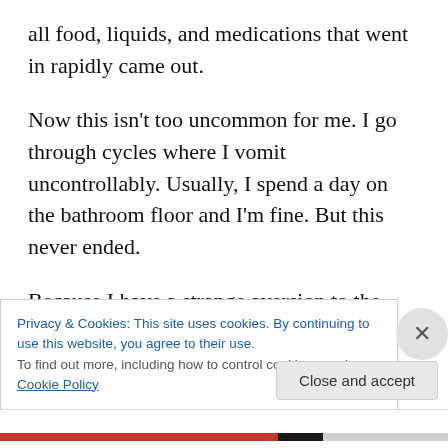all food, liquids, and medications that went in rapidly came out.
Now this isn't too uncommon for me. I go through cycles where I vomit uncontrollably. Usually, I spend a day on the bathroom floor and I'm fine. But this never ended.
Because I have a strange aversion to the hospital (not sure why…) and I'm incredibly stubborn, I held off until Sunday afternoon without letting Keith take me to the hospital. I must have looked horrible because I was rapidly
Privacy & Cookies: This site uses cookies. By continuing to use this website, you agree to their use.
To find out more, including how to control cookies, see here: Cookie Policy
Close and accept